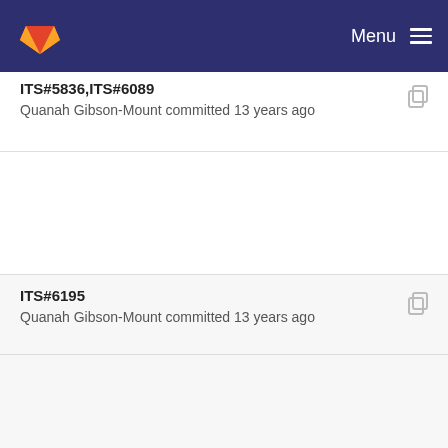[Figure (logo): GitLab fox logo in navbar]
Menu
ITS#5836,ITS#6089
Quanah Gibson-Mount committed 13 years ago
ITS#6195
Quanah Gibson-Mount committed 13 years ago
ITS#6037
Quanah Gibson-Mount committed 13 years ago